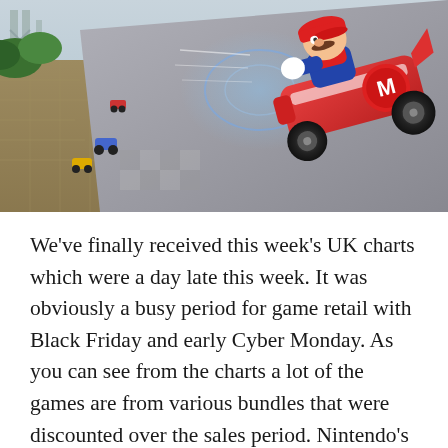[Figure (screenshot): Mario Kart 8 gameplay screenshot showing Mario in his kart racing upside down on a track, with other karts visible below on a cliff-side course]
We've finally received this week's UK charts which were a day late this week. It was obviously a busy period for game retail with Black Friday and early Cyber Monday. As you can see from the charts a lot of the games are from various bundles that were discounted over the sales period. Nintendo's very own Splatoon and Mario Kart 8 popped up once again in the top thirty thanks to the Wii